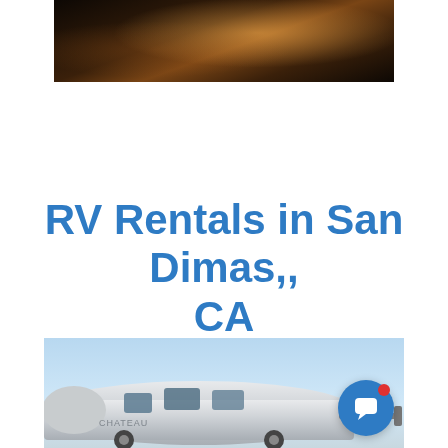[Figure (photo): Dark nighttime outdoor photo, appears to show a campfire or fire scene with warm orange glow]
RV Rentals in San Dimas,, CA
Plan your next adventure
[Figure (photo): Photo of a silver/white fifth-wheel RV trailer against a blue sky background, with a chat support button overlay in the bottom right]